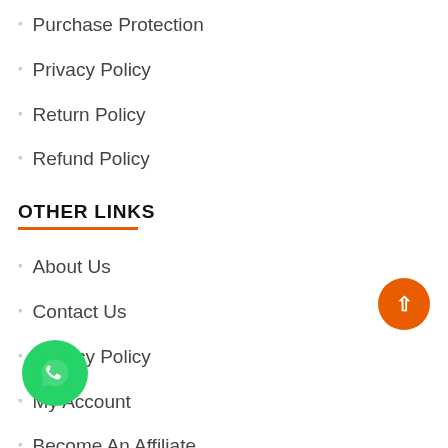Purchase Protection
Privacy Policy
Return Policy
Refund Policy
OTHER LINKS
About Us
Contact Us
Privacy Policy
My Account
Become An Affiliate